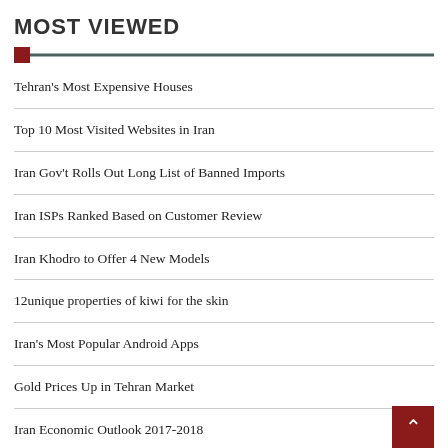MOST VIEWED
Tehran’s Most Expensive Houses
Top 10 Most Visited Websites in Iran
Iran Gov’t Rolls Out Long List of Banned Imports
Iran ISPs Ranked Based on Customer Review
Iran Khodro to Offer 4 New Models
12unique properties of kiwi for the skin
Iran’s Most Popular Android Apps
Gold Prices Up in Tehran Market
Iran Economic Outlook 2017-2018